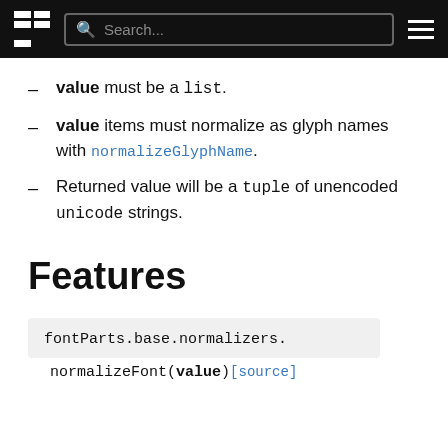fontParts documentation — Search
value must be a list.
value items must normalize as glyph names with normalizeGlyphName.
Returned value will be a tuple of unencoded unicode strings.
Features
fontParts.base.normalizers.